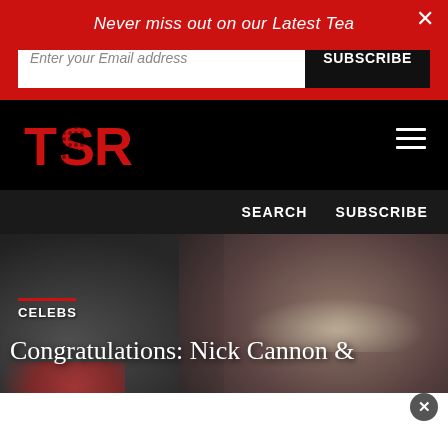Never miss out on our Latest Tea
Enter your Email address
SUBSCRIBE
[Figure (logo): TSR logo in red on black background]
SEARCH   SUBSCRIBE
[Figure (photo): Close-up photo of two people smiling, dark background]
CELEBS
Congratulations: Nick Cannon &